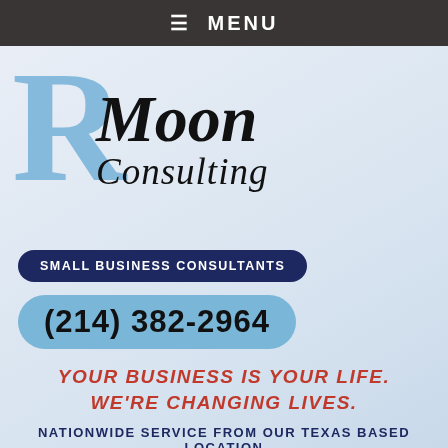≡ MENU
[Figure (logo): RM Moon Consulting logo with large blue R, italic black Moon Consulting text]
SMALL BUSINESS CONSULTANTS
(214) 382-2964
YOUR BUSINESS IS YOUR LIFE. WE'RE CHANGING LIVES.
NATIONWIDE SERVICE FROM OUR TEXAS BASED LOCATION
Home ▶ Areas Served ▶ Blanco
READ MORE: Blanco, TX · Johnson City, TX